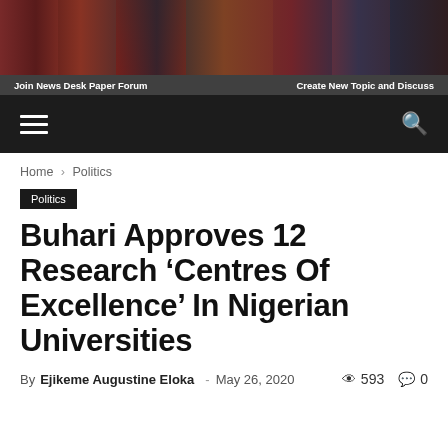[Figure (photo): News website banner with group photos of politicians/public figures, with text overlays 'Join News Desk Paper Forum' and 'Create New Topic and Discuss']
Navigation bar with hamburger menu and search icon
Home › Politics
Politics
Buhari Approves 12 Research 'Centres Of Excellence' In Nigerian Universities
By Ejikeme Augustine Eloka - May 26, 2020  593  0